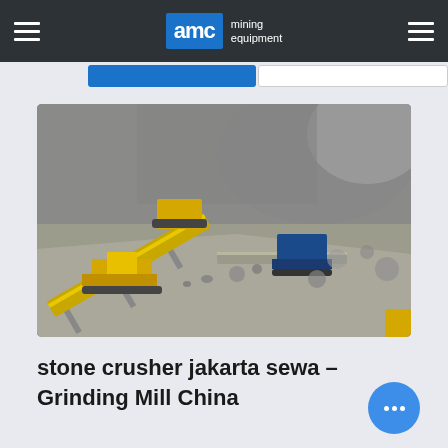AMC mining equipment
[Figure (photo): Aerial view of a stone crusher / mining quarry operation with yellow heavy machinery, conveyor belts, and excavators working on a rocky hillside.]
stone crusher jakarta sewa – Grinding Mill China